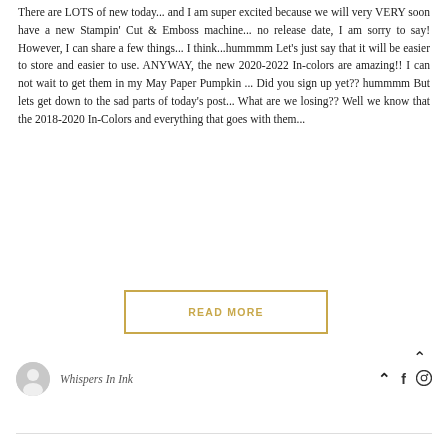There are LOTS of new today... and I am super excited because we will very VERY soon have a new Stampin' Cut & Emboss machine... no release date, I am sorry to say! However, I can share a few things... I think...hummmm Let's just say that it will be easier to store and easier to use. ANYWAY, the new 2020-2022 In-colors are amazing!! I can not wait to get them in my May Paper Pumpkin ... Did you sign up yet?? hummmm But lets get down to the sad parts of today's post... What are we losing?? Well we know that the 2018-2020 In-Colors and everything that goes with them...
READ MORE
Whispers In Ink